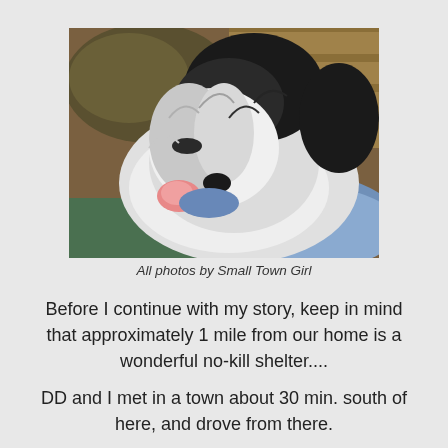[Figure (photo): Close-up photo of a small black and white fluffy dog resting its head, with a pink toy or cloth nearby and blue fabric visible, indoor setting with wooden background]
All photos by Small Town Girl
Before I continue with my story, keep in mind that approximately 1 mile from our home is a wonderful no-kill shelter....
DD and I met in a town about 30 min. south of here, and drove from there.